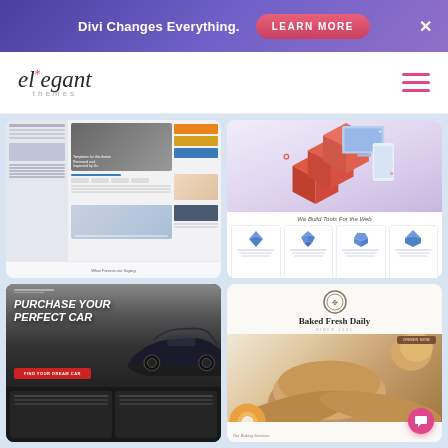Divi Changes Everything. LEARN MORE ×
[Figure (screenshot): Elegant Themes website header with logo and hamburger menu]
[Figure (screenshot): Blog/article website screenshot thumbnail with sidebar, hero image, color swatches, and 'What Parents are Saying' footer]
[Figure (screenshot): Tech website screenshot with 3D isometric cubes/boxes illustration, 'We Build Tools For the Web' tagline, and four feature cards with blue 3D icons]
[Figure (screenshot): Car dealership website screenshot with dark background, 'PURCHASE YOUR PERFECT CAR' headline, red CTA button, and dark footer with feature cards]
[Figure (screenshot): Bakery website screenshot with 'Baked Fresh Daily' heading, bread/pastry photography, and pink chat button]